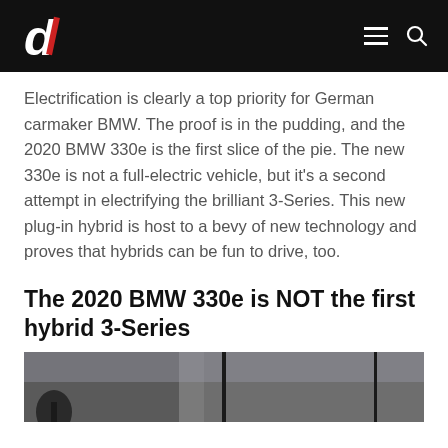d/ [logo] — navigation header
Electrification is clearly a top priority for German carmaker BMW. The proof is in the pudding, and the 2020 BMW 330e is the first slice of the pie. The new 330e is not a full-electric vehicle, but it's a second attempt in electrifying the brilliant 3-Series. This new plug-in hybrid is host to a bevy of new technology and proves that hybrids can be fun to drive, too.
The 2020 BMW 330e is NOT the first hybrid 3-Series
[Figure (photo): Partial photo of a BMW vehicle against a grey sky, cropped at bottom of page]